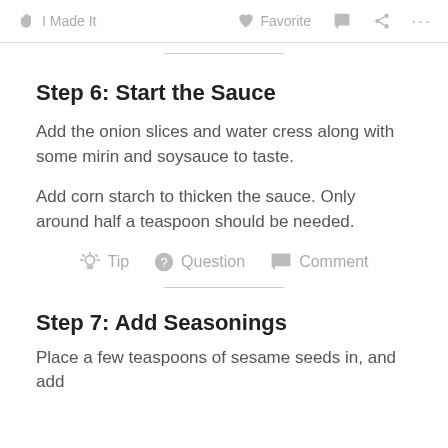I Made It   Favorite   Comment   Share   ...
Step 6: Start the Sauce
Add the onion slices and water cress along with some mirin and soysauce to taste.
Add corn starch to thicken the sauce. Only around half a teaspoon should be needed.
Tip   Question   Comment
Step 7: Add Seasonings
Place a few teaspoons of sesame seeds in, and add